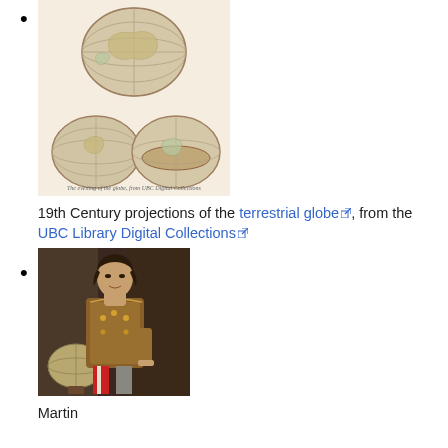[Figure (illustration): 19th century projections of the terrestrial globe, showing multiple globe views on a page, from UBC Library Digital Collections]
19th Century projections of the terrestrial globe, from the UBC Library Digital Collections
[Figure (photo): Portrait painting of Martin, a historical figure seated with a globe]
Martin